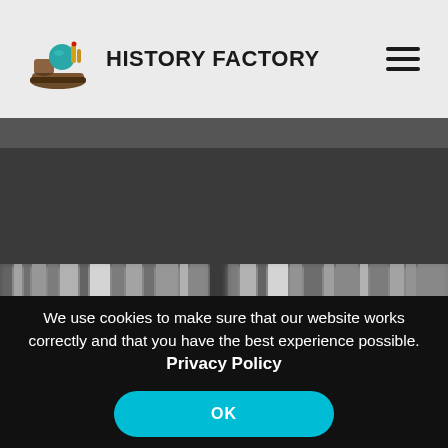HISTORY FACTORY
[Figure (screenshot): Blurred dark background image strip showing partially visible text or people, black and white/grayscale]
We use cookies to make sure that our website works correctly and that you have the best experience possible. Privacy Policy
OK